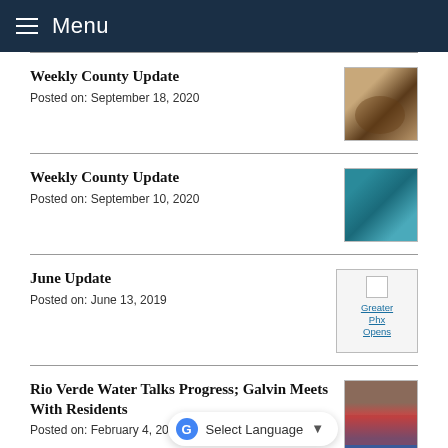Menu
Weekly County Update
Posted on: September 18, 2020
[Figure (photo): Photo thumbnail related to Weekly County Update September 18, 2020]
Weekly County Update
Posted on: September 10, 2020
[Figure (photo): Photo thumbnail related to Weekly County Update September 10, 2020 — blue/teal toned image]
June Update
Posted on: June 13, 2019
[Figure (other): Thumbnail with link text: Greater Phx Opens]
Rio Verde Water Talks Progress; Galvin Meets With Residents
Posted on: February 4, 2022
[Figure (photo): Photo thumbnail related to Rio Verde Water Talks article]
Thomas Galvin Appointed As New District 2 Supervisor
[Figure (photo): Photo thumbnail related to Thomas Galvin appointment article]